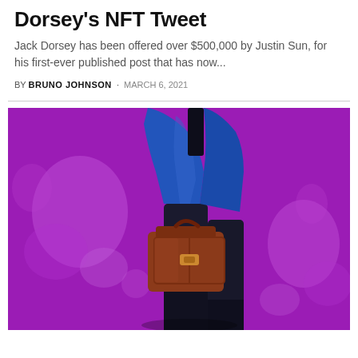Dorsey's NFT Tweet
Jack Dorsey has been offered over $500,000 by Justin Sun, for his first-ever published post that has now...
BY BRUNO JOHNSON · MARCH 6, 2021
[Figure (illustration): Digital illustration of a figure wearing a blue jacket and dark pants, carrying a brown bag, against a vivid purple background with abstract paint splatter effects.]